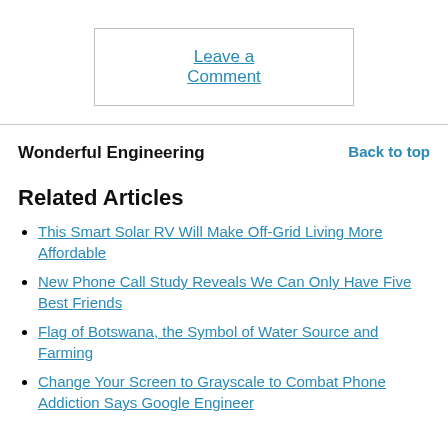Leave a Comment
Wonderful Engineering
Back to top
Related Articles
This Smart Solar RV Will Make Off-Grid Living More Affordable
New Phone Call Study Reveals We Can Only Have Five Best Friends
Flag of Botswana, the Symbol of Water Source and Farming
Change Your Screen to Grayscale to Combat Phone Addiction Says Google Engineer